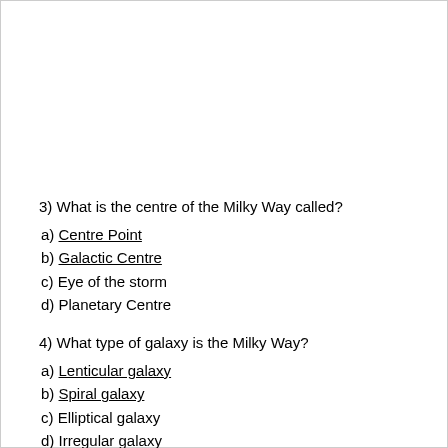3) What is the centre of the Milky Way called?
a) Centre Point
b) Galactic Centre
c) Eye of the storm
d) Planetary Centre
4) What type of galaxy is the Milky Way?
a) Lenticular galaxy
b) Spiral galaxy
c) Elliptical galaxy
d) Irregular galaxy
5) [redacted]